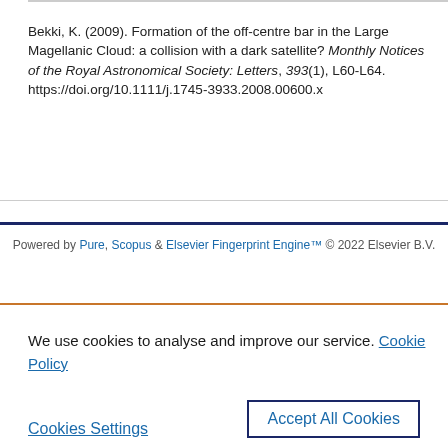Bekki, K. (2009). Formation of the off-centre bar in the Large Magellanic Cloud: a collision with a dark satellite? Monthly Notices of the Royal Astronomical Society: Letters, 393(1), L60-L64. https://doi.org/10.1111/j.1745-3933.2008.00600.x
Powered by Pure, Scopus & Elsevier Fingerprint Engine™ © 2022 Elsevier B.V.
We use cookies to analyse and improve our service. Cookie Policy
Cookies Settings   Accept All Cookies